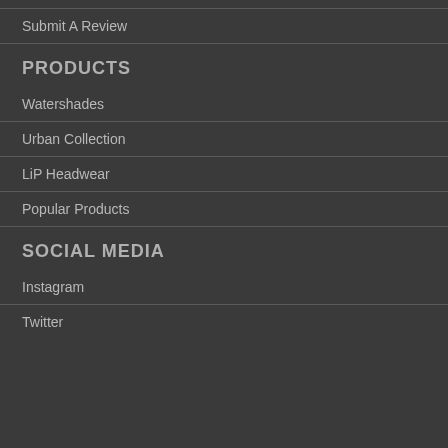Submit A Review
PRODUCTS
Watershades
Urban Collection
LiP Headwear
Popular Products
SOCIAL MEDIA
Instagram
Twitter